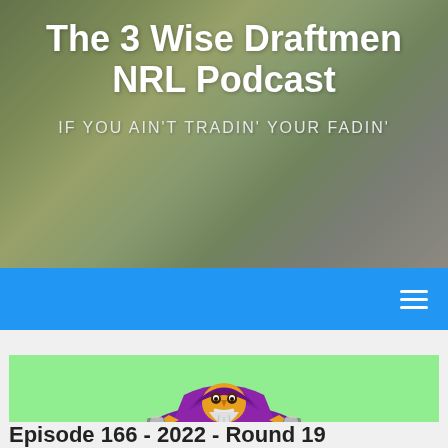The 3 Wise Draftmen NRL Podcast
IF YOU AIN'T TRADIN' YOUR FADIN'
[Figure (illustration): Navigation bar with blue background and hamburger menu icon (three horizontal white lines) on the right side]
[Figure (illustration): Podcast artwork showing a purple-robed wizard character with white beard holding guns, with text 'WISE DRAFTMEN' on a green background]
Episode 166 - 2022 - Round 19